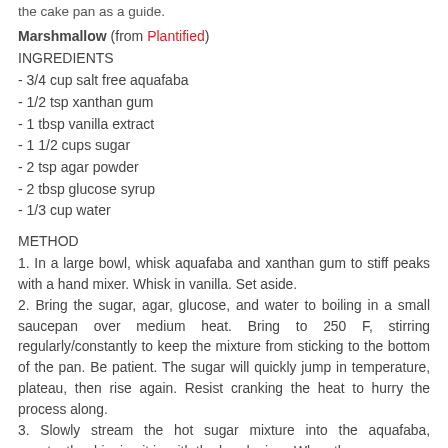the cake pan as a guide.
Marshmallow (from Plantified)
INGREDIENTS
- 3/4 cup salt free aquafaba
- 1/2 tsp xanthan gum
- 1 tbsp vanilla extract
- 1 1/2 cups sugar
- 2 tsp agar powder
- 2 tbsp glucose syrup
- 1/3 cup water
METHOD
1. In a large bowl, whisk aquafaba and xanthan gum to stiff peaks with a hand mixer. Whisk in vanilla. Set aside.
2. Bring the sugar, agar, glucose, and water to boiling in a small saucepan over medium heat. Bring to 250 F, stirring regularly/constantly to keep the mixture from sticking to the bottom of the pan. Be patient. The sugar will quickly jump in temperature, plateau, then rise again. Resist cranking the heat to hurry the process along.
3. Slowly stream the hot sugar mixture into the aquafaba, constantly whipping it in with the hand mixer. When the